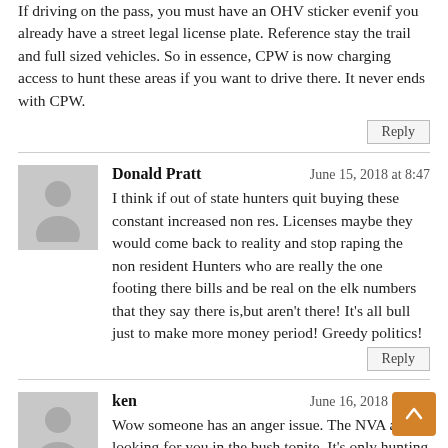If driving on the pass, you must have an OHV sticker evenif you already have a street legal license plate. Reference stay the trail and full sized vehicles. So in essence, CPW is now charging access to hunt these areas if you want to drive there. It never ends with CPW.
Donald Pratt
June 15, 2018 at 8:47
I think if out of state hunters quit buying these constant increased non res. Licenses maybe they would come back to reality and stop raping the non resident Hunters who are really the one footing there bills and be real on the elk numbers that they say there is,but aren't there! It's all bull just to make more money period! Greedy politics!
ken
June 16, 2018 at 8:47
Wow someone has an anger issue. The NVA ain't looking for you in the bush tonite. It's only hunting for heavens sake. We're all in on this dog screwing together. The point system has turned hunting into bullshit. I have points in many states, and I will die of old age without drawing a goat, sheep, or moose tag. That's reality. But above the above family detail to...